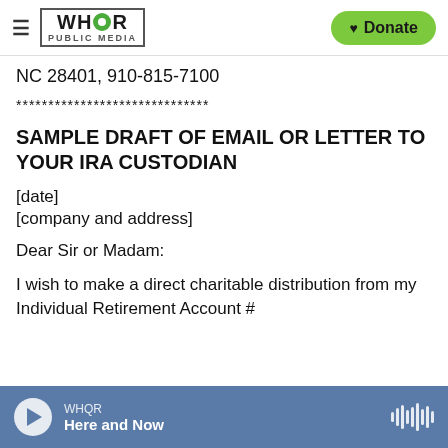WHQR PUBLIC MEDIA | Donate
NC 28401, 910-815-7100
******************************
SAMPLE DRAFT OF EMAIL OR LETTER TO YOUR IRA CUSTODIAN
[date]
[company and address]
Dear Sir or Madam:
I wish to make a direct charitable distribution from my Individual Retirement Account #
WHQR | Here and Now